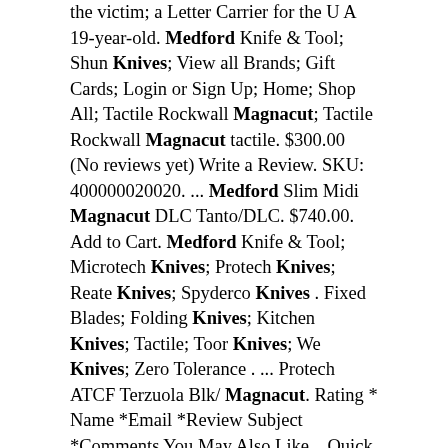the victim; a Letter Carrier for the U A 19-year-old. Medford Knife & Tool; Shun Knives; View all Brands; Gift Cards; Login or Sign Up; Home; Shop All; Tactile Rockwall Magnacut; Tactile Rockwall Magnacut tactile. $300.00 (No reviews yet) Write a Review. SKU: 400000020020. ... Medford Slim Midi Magnacut DLC Tanto/DLC. $740.00. Add to Cart. Medford Knife & Tool; Microtech Knives; Protech Knives; Reate Knives; Spyderco Knives . Fixed Blades; Folding Knives; Kitchen Knives; Tactile; Toor Knives; We Knives; Zero Tolerance . ... Protech ATCF Terzuola Blk/ Magnacut. Rating * Name *Email *Review Subject *Comments You May Also Like... Quick view. Protech Whiskers Tuxedo/Blk BR-1.52. $330. Medford Praetorian T Magnacut PVD Tanto Blade Tumbled Handles PVD Hardware and Clip PVD Bead... $845.00 ... 4 interest-f